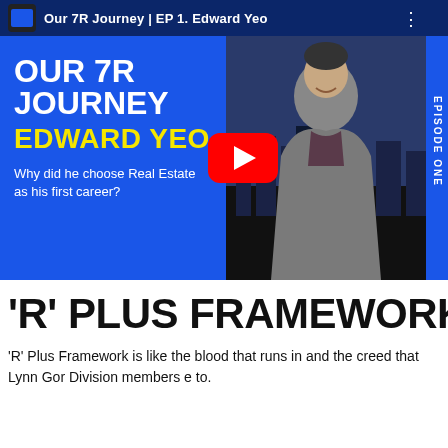[Figure (screenshot): YouTube video thumbnail for 'Our 7R Journey | EP 1. Edward Yeo' showing a man in a grey blazer against a blue background with large white and yellow text, and a YouTube play button overlay. Top bar shows video title. Right side has vertical 'EPISODE ONE' text.]
'R' PLUS FRAMEWORK
'R' Plus Framework is like the blood that runs in and the creed that Lynn Gor Division members e to.